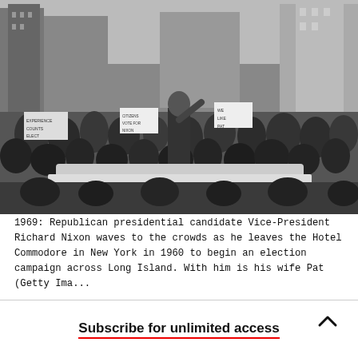[Figure (photo): Black and white photograph of Republican presidential candidate Vice-President Richard Nixon standing on top of a car, waving to large crowds on a city street in New York, with campaign signs visible including 'We Like Pat', 'Citizens Vote for Nixon', and 'Experience Counts'. Tall buildings visible in the background.]
1969: Republican presidential candidate Vice-President Richard Nixon waves to the crowds as he leaves the Hotel Commodore in New York in 1960 to begin an election campaign across Long Island. With him is his wife Pat (Getty Images/Getty Images).
Subscribe for unlimited access